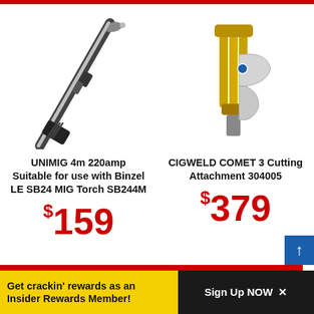[Figure (photo): UNIMIG 4m 220amp MIG torch SB244M — a long black welding torch cable with curved metal nozzle tip and black grip handle]
UNIMIG 4m 220amp Suitable for use with Binzel LE SB24 MIG Torch SB244M
$159
[Figure (photo): CIGWELD COMET 3 Cutting Attachment 304005 — a gold/brass colored cutting torch attachment with trigger handle]
CIGWELD COMET 3 Cutting Attachment 304005
$379
Get crackin' rewards as an Insider Rewards Member!
Sign Up NOW ×